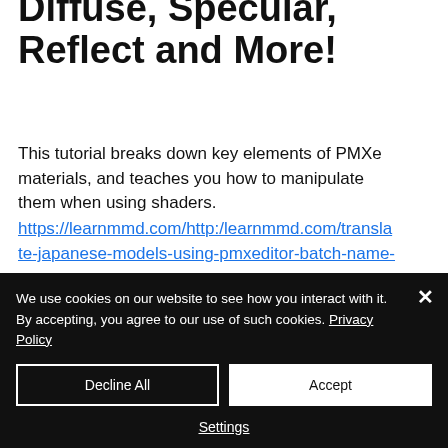Diffuse, Specular, Reflect and More!
This tutorial breaks down key elements of PMXe materials, and teaches you how to manipulate them when using shaders.
https://learnmmd.com/http:/learnmmd.com/translate-japanese-models-using-pmxeditor-batch-name-editor/
Other
We use cookies on our website to see how you interact with it. By accepting, you agree to our use of such cookies. Privacy Policy
Decline All
Accept
Settings